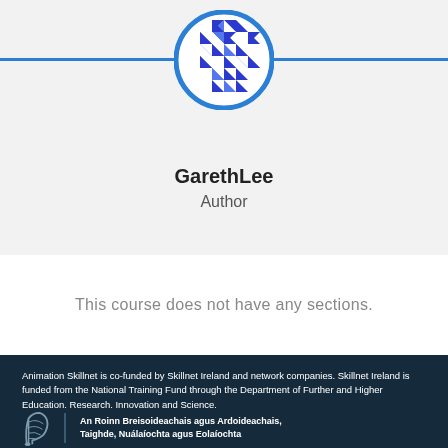[Figure (logo): Circular logo with blue and white geometric diamond/arrow pattern on white background with blue border]
GarethLee
Author
This course does not have any sections.
Animation Skillnet is co-funded by Skillnet Ireland and network companies. Skillnet Ireland is funded from the National Training Fund through the Department of Further and Higher Education, Research, Innovation and Science.
An Roinn Breisoideachais agus Ardoideachais, Taighde, Nuálaíochta agus Eolaíochta